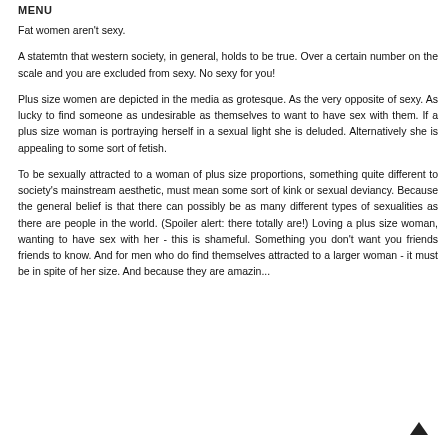MENU
Fat women aren't sexy.
A statemtn that western society, in general, holds to be true. Over a certain number on the scale and you are excluded from sexy. No sexy for you!
Plus size women are depicted in the media as grotesque. As the very opposite of sexy. As lucky to find someone as undesirable as themselves to want to have sex with them. If a plus size woman is portraying herself in a sexual light she is deluded. Alternatively she is appealing to some sort of fetish.
To be sexually attracted to a woman of plus size proportions, something quite different to society's mainstream aesthetic, must mean some sort of kink or sexual deviancy. Because the general belief is that there can possibly be as many different types of sexualities as there are people in the world. (Spoiler alert: there totally are!) Loving a plus size woman, wanting to have sex with her - this is shameful. Something you don't want you friends friends to know. And for men who do find themselves attracted to a larger woman - it must be in spite of her size. And because they are amazin...